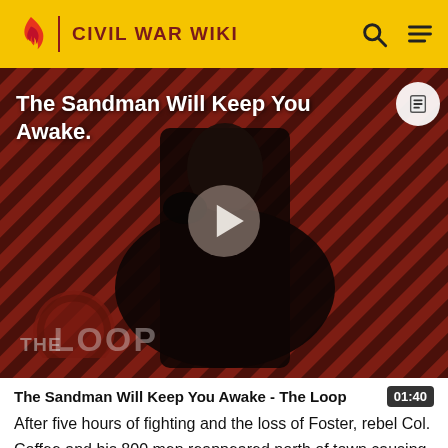CIVIL WAR WIKI
[Figure (screenshot): Video thumbnail showing a dark figure in a black cape against a red and black diagonal striped background. Large white text reads 'The Sandman Will Keep You Awake.' with a play button in the center. 'THE LOOP' watermark is visible at the bottom left.]
The Sandman Will Keep You Awake - The Loop
After five hours of fighting and the loss of Foster, rebel Col. Coffee and his 800 men reappeared north of town causing Foster's successor, Capt. Milton H. Brawner, to order a retreat. The men left the field in good order and